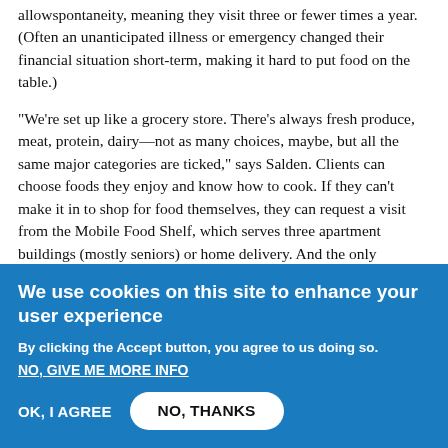allowspontaneity, meaning they visit three or fewer times a year. (Often an unanticipated illness or emergency changed their financial situation short-term, making it hard to put food on the table.)
“We’re set up like a grocery store. There’s always fresh produce, meat, protein, dairy—not as many choices, maybe, but all the same major categories are ticked,” says Salden. Clients can choose foods they enjoy and know how to cook. If they can’t make it in to shop for food themselves, they can request a visit from the Mobile Food Shelf, which serves three apartment buildings (mostly seniors) or home delivery. And the only requirement for clients taking advantage of food services is that they live in ICA’s service area. “We trust that if you say you need food, you need food,” Salden adds.
We use cookies on this site to enhance your user experience
By clicking the Accept button, you agree to us doing so.
NO, GIVE ME MORE INFO
OK, I AGREE
NO, THANKS